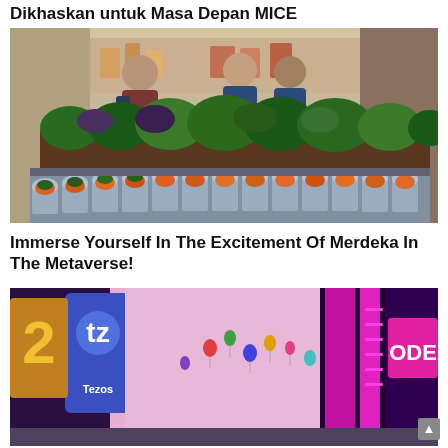Dikhaskan untuk Masa Depan MICE
[Figure (photo): Indoor buffet spread with rows of fresh vegetables and individual glass cups filled with colorful food items. Two men wearing masks stand in the background near a food display counter in a modern restaurant setting.]
Immerse Yourself In The Excitement Of Merdeka In The Metaverse!
[Figure (photo): Metaverse/virtual reality scene showing colorful neon-lit cityscapes with large purple and pink signage. Tezos branding visible on the left with a blue logo and sign. Right side shows a bright pink/purple neon-lit building facade with 'ODE' visible. Balloons float in a pink sky.]